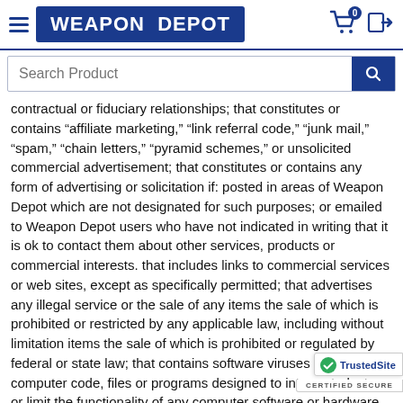WEAPON DEPOT
contractual or fiduciary relationships; that constitutes or contains “affiliate marketing,” “link referral code,” “junk mail,” “spam,” “chain letters,” “pyramid schemes,” or unsolicited commercial advertisement; that constitutes or contains any form of advertising or solicitation if: posted in areas of Weapon Depot which are not designated for such purposes; or emailed to Weapon Depot users who have not indicated in writing that it is ok to contact them about other services, products or commercial interests. that includes links to commercial services or web sites, except as specifically permitted; that advertises any illegal service or the sale of any items the sale of which is prohibited or restricted by any applicable law, including without limitation items the sale of which is prohibited or regulated by federal or state law; that contains software viruses or any other computer code, files or programs designed to interrupt, destroy or limit the functionality of any computer software or hardware or telecommunications equipment; that disrupts the normal flow of dialogue with an excessive amount of Co (flooding attack) to the Service. or that otherwise negat